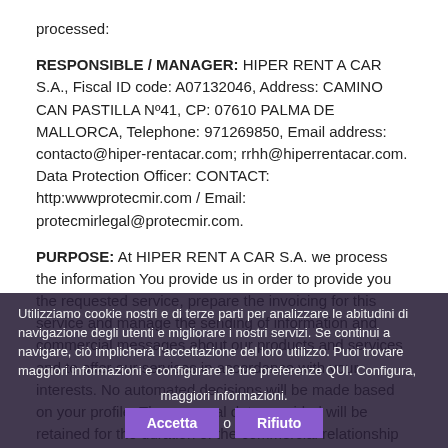processed:
RESPONSIBLE / MANAGER: HIPER RENT A CAR S.A., Fiscal ID code: A07132046, Address: CAMINO CAN PASTILLA Nº41, CP: 07610 PALMA DE MALLORCA, Telephone: 971269850, Email address: contacto@hiper-rentacar.com; rrhh@hiperrentacar.com. Data Protection Officer: CONTACT: http:wwwprotecmir.com / Email: protecmirlegal@protecmir.com.
PURPOSE: At HIPER RENT A CAR S.A. we process the information You provide us in order to provide you the requested service, prepare the invoicing for this service and manage the sending of information and commercial messages about our products and services and to offer our services in accordance with your interests. No automated decisions will be made based on your profile. The personal data provided will be retained for the duration of the commercial relationship and as long as no request has
Utilizziamo cookie nostri e di terze parti per analizzare le abitudini di navigazione degli utenti e migliorare i nostri servizi. Se continui a navigare, ciò implicherà l'accettazione del loro utilizzo. Puoi trovare maggiori informazioni e configurare le tue preferenze QUI. Configura, maggiori informazioni. Accetta o Rifiuto